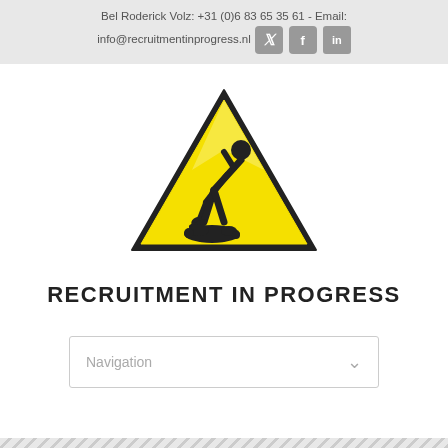Bel Roderick Volz: +31 (0)6 83 65 35 61 - Email: info@recruitmentinprogress.nl
[Figure (illustration): Yellow triangular warning sign with black border containing a construction worker digging with a shovel icon]
RECRUITMENT IN PROGRESS
Navigation